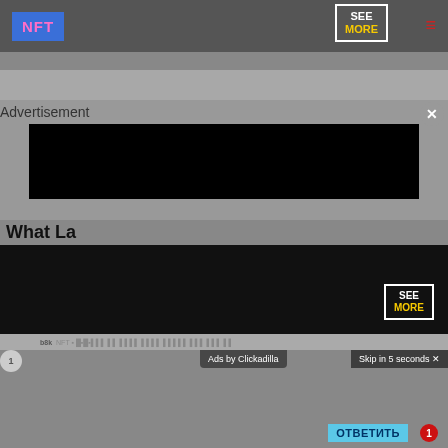[Figure (screenshot): Website navigation bar with NFT logo in blue, SEE MORE button with yellow text, and hamburger menu icon]
[Figure (screenshot): Ticker bar showing b8k NFT promotional text scrolling]
[Figure (screenshot): Advertisement overlay with close button showing black video player ad]
Advertisement
What La
[Figure (screenshot): Second advertisement block showing black area with SEE MORE button and b8k ticker]
[Figure (screenshot): Video player showing woman with braids, timer 00:46:46, Ads by Clickadilla label, Skip in 5 seconds button]
[Figure (screenshot): Push notification from Настя Игнатова showing Оставила Вам (3) сообщения with ОТВЕТИТЬ button, time 10:05, badge 1]